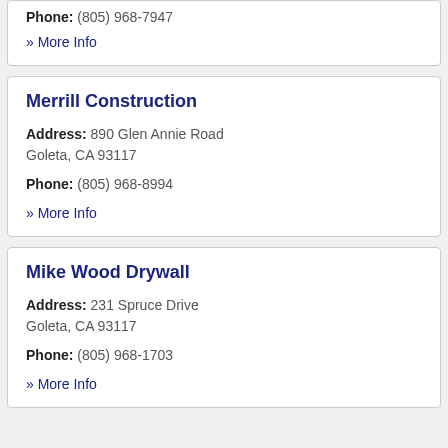Phone: (805) 968-7947
» More Info
Merrill Construction
Address: 890 Glen Annie Road Goleta, CA 93117
Phone: (805) 968-8994
» More Info
Mike Wood Drywall
Address: 231 Spruce Drive Goleta, CA 93117
Phone: (805) 968-1703
» More Info